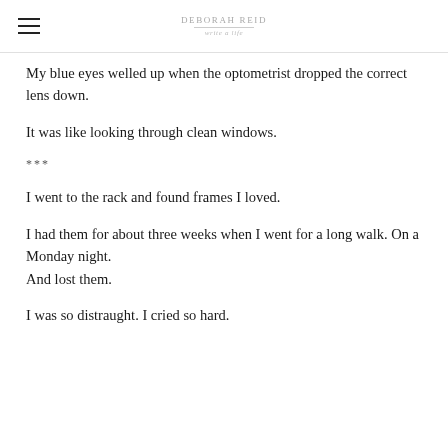DEBORAH REID
My blue eyes welled up when the optometrist dropped the correct lens down.
It was like looking through clean windows.
***
I went to the rack and found frames I loved.
I had them for about three weeks when I went for a long walk. On a Monday night.
And lost them.
I was so distraught. I cried so hard.